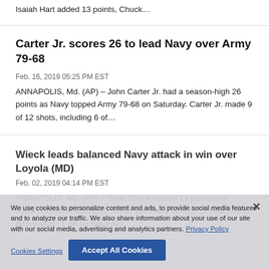Isaiah Hart added 13 points, Chuck…
Carter Jr. scores 26 to lead Navy over Army 79-68
Feb. 16, 2019 05:25 PM EST
ANNAPOLIS, Md. (AP) – John Carter Jr. had a season-high 26 points as Navy topped Army 79-68 on Saturday. Carter Jr. made 9 of 12 shots, including 6 of…
Wieck leads balanced Navy attack in win over Loyola (MD)
Feb. 02, 2019 04:14 PM EST
ANNAPOLIS, Md. (AP) – Evan Wieck scored 13 points and Hasan Abdullah added 12 points and Navy held on to beat Loyola (Maryland) 71-68 on Saturday. …
We use cookies to personalize content and ads, to provide social media features and to analyze our traffic. We also share information about your use of our site with our social media, advertising and analytics partners. Privacy Policy
Cookies Settings
Accept All Cookies